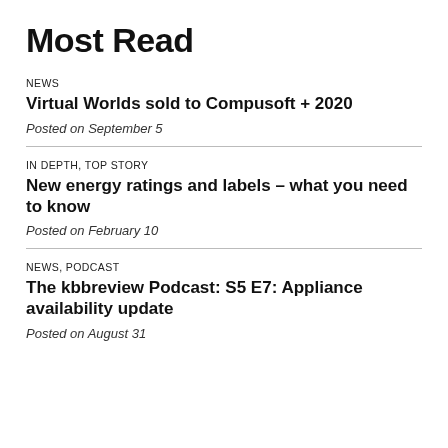Most Read
NEWS
Virtual Worlds sold to Compusoft + 2020
Posted on September 5
IN DEPTH, TOP STORY
New energy ratings and labels – what you need to know
Posted on February 10
NEWS, PODCAST
The kbbreview Podcast: S5 E7: Appliance availability update
Posted on August 31